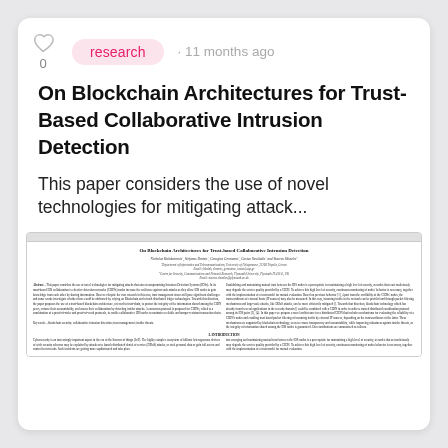0
research · 11 months ago
On Blockchain Architectures for Trust-Based Collaborative Intrusion Detection
This paper considers the use of novel technologies for mitigating attack...
[Figure (screenshot): Preview thumbnail of the academic paper 'On Blockchain Architectures for Trust-based Collaborative Intrusion Detection' showing the paper's title, authors, affiliations, abstract, and introduction sections in a two-column academic journal format.]